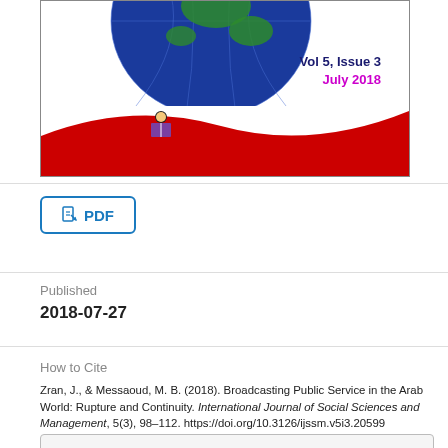[Figure (illustration): Journal cover thumbnail showing a globe on white background with a red wave at the bottom and a small reader icon. Text shows 'Vol 5, Issue 3' in dark blue and 'July 2018' in magenta/purple.]
PDF
Published
2018-07-27
How to Cite
Zran, J., & Messaoud, M. B. (2018). Broadcasting Public Service in the Arab World: Rupture and Continuity. International Journal of Social Sciences and Management, 5(3), 98–112. https://doi.org/10.3126/ijssm.v5i3.20599